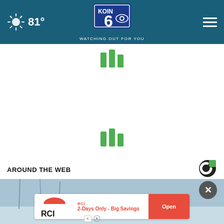81° KOIN 6 - WATCHING OUT FOR YOU
[Figure (infographic): Loading spinner with three green vertical bars of varying heights, centered on page]
[Figure (infographic): Loading spinner with three green vertical bars of varying heights, centered on page]
AROUND THE WEB
[Figure (photo): Winter/snowy outdoor scene, partially visible at bottom of page, with an RCI advertisement overlay: '2-Days Only - Big Savings' with Open button]
[Figure (logo): Taboola logo - black C shape with green square, top right of Around the Web section]